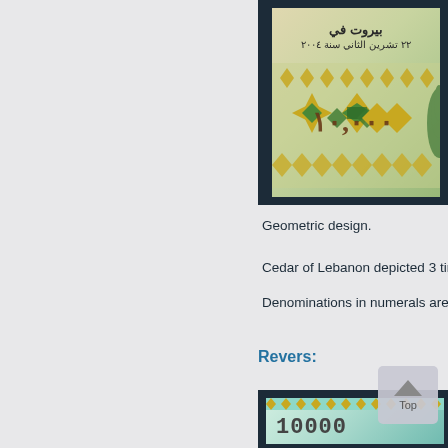[Figure (photo): Top portion of a Lebanese banknote showing Arabic text 'بيروت في ٢٢ تشرين الثاني سنة ٢٠٠٤' and a geometric diamond/star pattern design in green and yellow on a light background, with cedar tree motif on the right edge. Displayed in a dark frame.]
Geometric design.
Cedar of Lebanon depicted 3 tim...
Denominations in numerals are ...
Revers:
[Figure (photo): Bottom portion showing the reverse of a Lebanese 10000 banknote with large numerals '10000' in metallic/ornate style on a teal/green background with geometric border patterns. Displayed in a dark frame.]